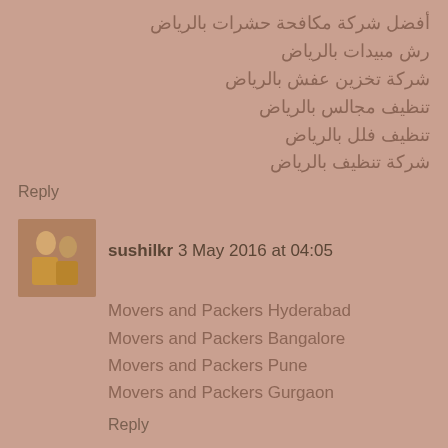أفضل شركة مكافحة حشرات بالرياض
رش مبيدات بالرياض
شركة تخزين عفش بالرياض
تنظيف مجالس بالرياض
تنظيف فلل بالرياض
شركة تنظيف بالرياض
Reply
sushilkr 3 May 2016 at 04:05
Movers and Packers Hyderabad
Movers and Packers Bangalore
Movers and Packers Pune
Movers and Packers Gurgaon
Reply
sushilkr 3 May 2016 at 04:06
Movers and Packers in Pune